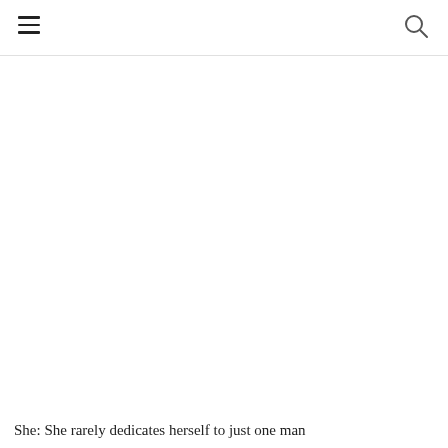[Figure (illustration): Background pattern of light gray/white snowflakes of various sizes scattered across the page, denser on the left side and upper area, fading out toward the right.]
She: She rarely dedicates herself to just one man